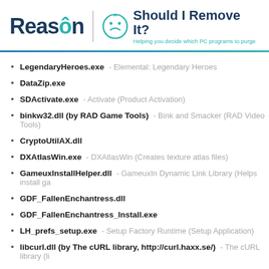[Figure (logo): Reason Software logo and 'Should I Remove It?' branding with tagline 'Helping you decide which PC programs to purge']
LegendaryHeroes.exe - Elemental: Legendary Heroes
DataZip.exe
SDActivate.exe - Activate (Product Activation)
binkw32.dll (by RAD Game Tools) - Bink and Smacker (RAD Video Tools)
CryptoUtilAX.dll
DXAtlasWin.exe - DXAtlasWin (Creates texture atlas files)
GameuxInstallHelper.dll - GameuxIn Dynamic Link Library (Helps install ga...
GDF_FallenEnchantress.dll
GDF_FallenEnchantress_Install.exe
LH_prefs_setup.exe - Setup Factory Runtime (Setup Application)
libcurl.dll (by The cURL library, http://curl.haxx.se/) - The cURL library (li...
libeay32.dll (by The OpenSSL Project, http://www.openssl.org/) - The...
mss32.dll (by RAD Game Tools) - Miles Sound System
msvcr90.dll (by Microsoft) - Microsoft® Visual Studio® 2008 (Microsoft®...